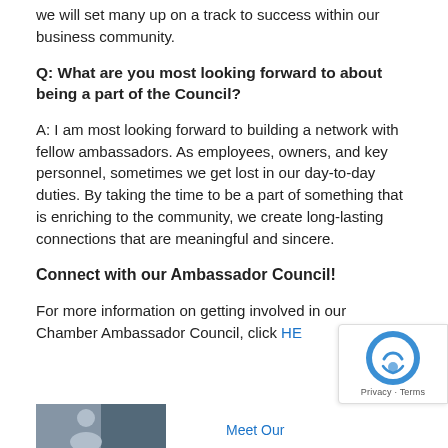we will set many up on a track to success within our business community.
Q: What are you most looking forward to about being a part of the Council?
A: I am most looking forward to building a network with fellow ambassadors. As employees, owners, and key personnel, sometimes we get lost in our day-to-day duties. By taking the time to be a part of something that is enriching to the community, we create long-lasting connections that are meaningful and sincere.
Connect with our Ambassador Council!
For more information on getting involved in our Chamber Ambassador Council, click HERE
[Figure (photo): Bottom strip with a photo of a person and 'Meet Our' text link in blue]